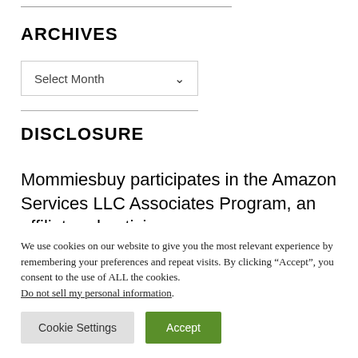ARCHIVES
Select Month
DISCLOSURE
Mommiesbuy participates in the Amazon Services LLC Associates Program, an affiliate advertising
We use cookies on our website to give you the most relevant experience by remembering your preferences and repeat visits. By clicking “Accept”, you consent to the use of ALL the cookies. Do not sell my personal information.
Cookie Settings   Accept